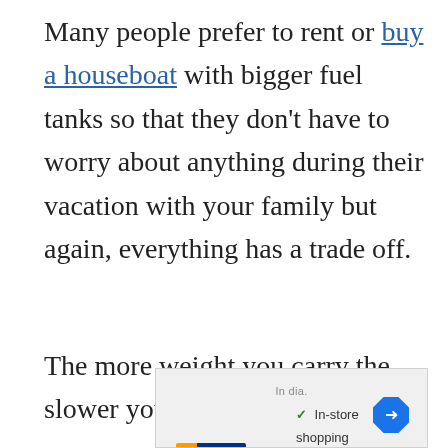Many people prefer to rent or buy a houseboat with bigger fuel tanks so that they don't have to worry about anything during their vacation with your family but again, everything has a trade off.
The more weight you carry the slower your houseboat will go.
[Figure (other): Advertisement banner showing a store logo with checkmarks for In-store shopping, In-store pickup, and Delivery, with a blue diamond navigation arrow icon on the right.]